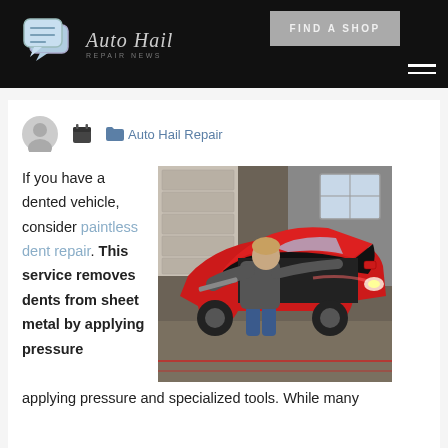Auto Hail Repair News | FIND A SHOP
Auto Hail Repair
If you have a dented vehicle, consider paintless dent repair. This service removes dents from sheet metal by applying pressure and specialized tools. While many
[Figure (photo): A mechanic working under the open hood of a red Audi SUV in a garage, using a tool to repair dents]